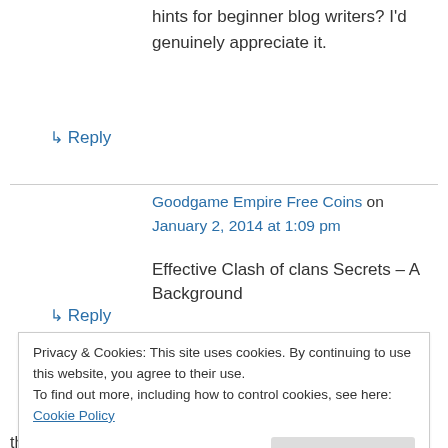hints for beginner blog writers? I'd genuinely appreciate it.
↳ Reply
Goodgame Empire Free Coins on January 2, 2014 at 1:09 pm
Effective Clash of clans Secrets – A Background
↳ Reply
Privacy & Cookies: This site uses cookies. By continuing to use this website, you agree to their use.
To find out more, including how to control cookies, see here: Cookie Policy
Close and accept
they're discussing over the internet. You actually